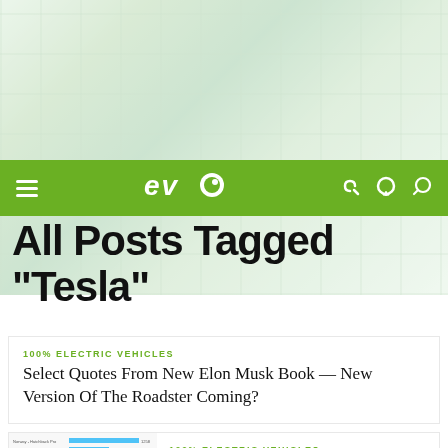[Figure (photo): Blurred factory/industrial background image with green tint overlay]
EVO navigation bar with hamburger menu, EVO logo, moon icon, and search icon
All Posts Tagged "Tesla"
100% ELECTRIC VEHICLES
Select Quotes From New Elon Musk Book — New Version Of The Roadster Coming?
[Figure (bar-chart): Horizontal bar chart showing European EV sales by country for April 2015]
100% ELECTRIC VEHICLES
European EV Sales (April 2015)